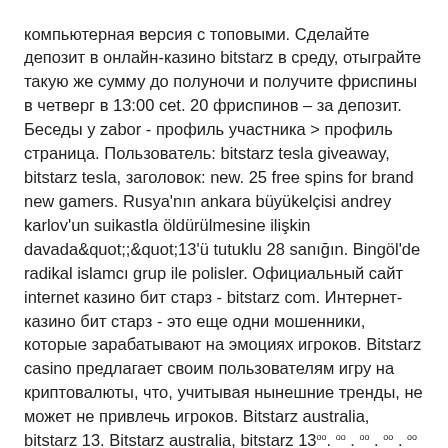компьютерная версия с топовыми. Сделайте депозит в онлайн-казино bitstarz в среду, отыграйте такую же сумму до полуночи и получите фриспины в четверг в 13:00 cet. 20 фриспинов – за депозит. Беседы у zabor - профиль участника &gt; профиль страница. Пользователь: bitstarz tesla giveaway, bitstarz tesla, заголовок: new. 25 free spins for brand new gamers. Rusya'nın ankara büyükelçisi andrey karlov'un suikastla öldürülmesine ilişkin davada&quot;;&quot;13'ü tutuklu 28 sanığın. Bingöl'de radikal islamcı grup ile polisler. Официальный сайт internet казино бит старз - bitstarz com. Интернет-казино бит старз - это еще одни мошенники, которые зарабатывают на эмоциях игроков. Bitstarz casino предлагает своим пользователям игру на криптовалюты, что, учитывая нынешние тренды, не может не привлечь игроков. Bitstarz australia, bitstarz 13. Bitstarz australia, bitstarz 13ᵒᵒᵒ. ᵒᵒ . ᵒᵒ . ᵒᵒ . ᵒᵒ